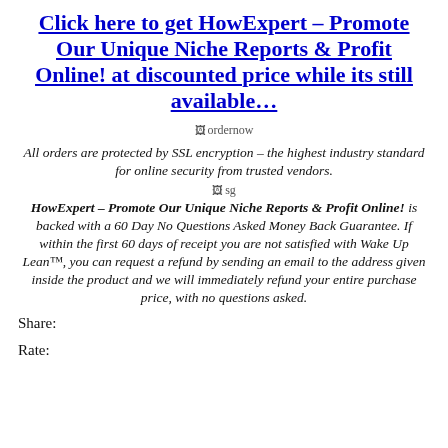Click here to get HowExpert – Promote Our Unique Niche Reports & Profit Online! at discounted price while its still available…
[Figure (other): Broken image placeholder labeled 'ordernow']
All orders are protected by SSL encryption – the highest industry standard for online security from trusted vendors.
[Figure (other): Broken image placeholder labeled 'sg']
HowExpert – Promote Our Unique Niche Reports & Profit Online! is backed with a 60 Day No Questions Asked Money Back Guarantee. If within the first 60 days of receipt you are not satisfied with Wake Up Lean™, you can request a refund by sending an email to the address given inside the product and we will immediately refund your entire purchase price, with no questions asked.
Share:
Rate: